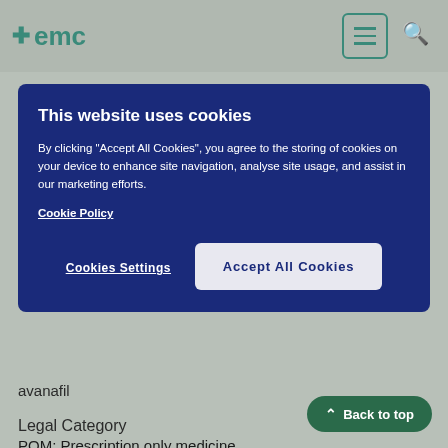emc
This website uses cookies
By clicking "Accept All Cookies", you agree to the storing of cookies on your device to enhance site navigation, analyse site usage, and assist in our marketing efforts. Cookie Policy
Cookies Settings
Accept All Cookies
avanafil
Legal Category
POM: Prescription only medicine
ATC code
G04BE10
Find similar products